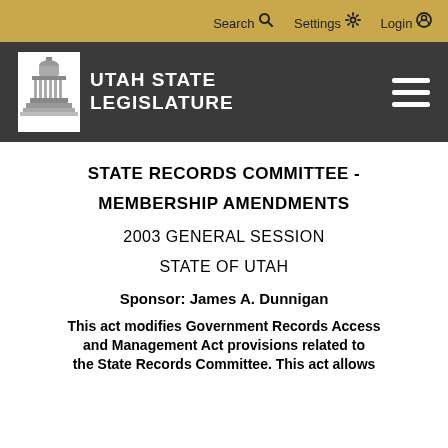Search  Settings  Login
[Figure (logo): Utah State Legislature logo with capitol building icon and white text on dark gray background with hamburger menu]
STATE RECORDS COMMITTEE -
MEMBERSHIP AMENDMENTS
2003 GENERAL SESSION
STATE OF UTAH
Sponsor: James A. Dunnigan
This act modifies Government Records Access and Management Act provisions related to the State Records Committee. This act allows